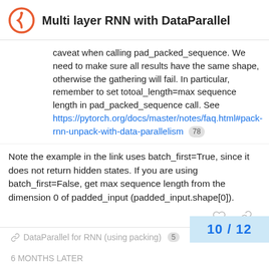Multi layer RNN with DataParallel
caveat when calling pad_packed_sequence. We need to make sure all results have the same shape, otherwise the gathering will fail. In particular, remember to set totoal_length=max sequence length in pad_packed_sequence call. See https://pytorch.org/docs/master/notes/faq.html#pack-rnn-unpack-with-data-parallelism 78
Note the example in the link uses batch_first=True, since it does not return hidden states. If you are using batch_first=False, get max sequence length from the dimension 0 of padded_input (padded_input.shape[0]).
DataParallel for RNN (using packing) 5
10 / 12
6 MONTHS LATER